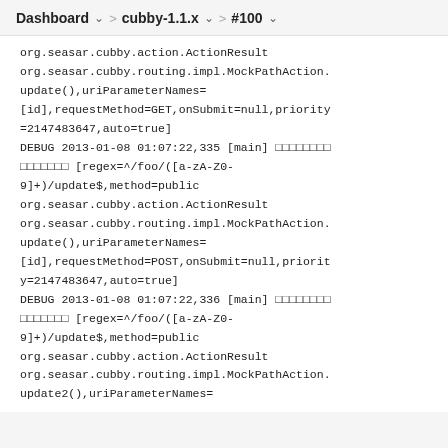Dashboard > cubby-1.1.x > #100
org.seasar.cubby.action.ActionResult org.seasar.cubby.routing.impl.MockPathAction.update(),uriParameterNames=[id],requestMethod=GET,onSubmit=null,priority=2147483647,auto=true]
DEBUG 2013-01-08 01:07:22,335 [main] ???????? ???????? [regex=^/foo/([a-zA-Z0-9]+)/update$,method=public org.seasar.cubby.action.ActionResult org.seasar.cubby.routing.impl.MockPathAction.update(),uriParameterNames=[id],requestMethod=POST,onSubmit=null,priority=2147483647,auto=true]
DEBUG 2013-01-08 01:07:22,336 [main] ???????? ???????? [regex=^/foo/([a-zA-Z0-9]+)/update$,method=public org.seasar.cubby.action.ActionResult org.seasar.cubby.routing.impl.MockPathAction.update2(),uriParameterNames=